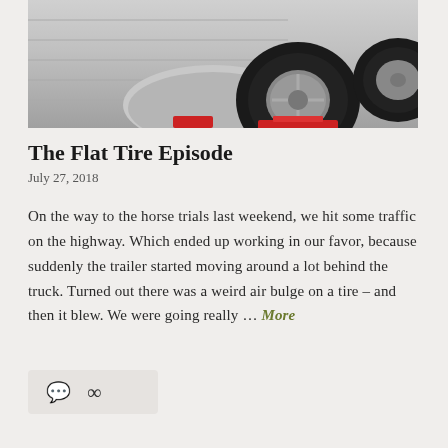[Figure (photo): Close-up photo of a silver horse trailer wheel and fender, with the tire on a red jack stand in a garage or service area.]
The Flat Tire Episode
July 27, 2018
On the way to the horse trials last weekend, we hit some traffic on the highway. Which ended up working in our favor, because suddenly the trailer started moving around a lot behind the truck. Turned out there was a weird air bulge on a tire – and then it blew. We were going really … More